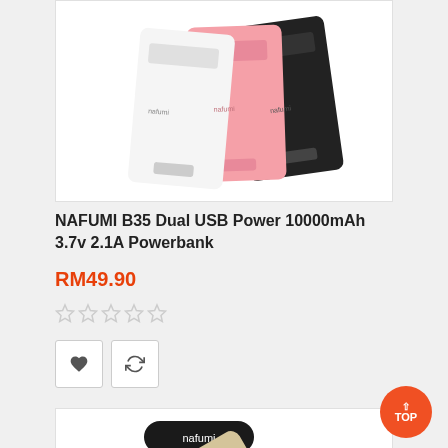[Figure (photo): Three NAFUMI power banks in white, pink, and black colors, arranged overlapping diagonally on a white background.]
NAFUMI B35 Dual USB Power 10000mAh 3.7v 2.1A Powerbank
RM49.90
[Figure (other): Five empty star rating icons.]
[Figure (other): Add To Cart button with shopping cart icon, heart/wishlist button, and refresh/compare button.]
[Figure (photo): A gold/champagne colored NAFUMI power bank shown diagonally, with USB ports visible, and a NAFUMI logo tag above it on a white background.]
[Figure (other): Orange circular TOP button with upward arrow in bottom right corner.]